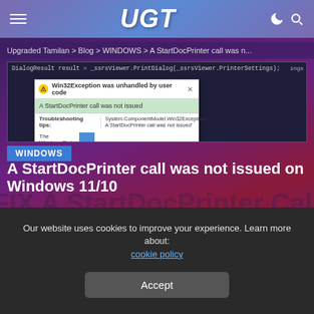UGT
Upgraded Tamilan > Blog > WINDOWS > A StartDocPrinter call was n...
[Figure (screenshot): Screenshot showing a Win32Exception dialog: 'Win32Exception was unhandled by user code' with error 'A StartDocPrinter call was not issued'. Code line: DialogResult result = _ssrsViewer.PrintDialog(_ssrsViewer.PrinterSettings). Troubleshooting tips with The WindowsClub link and System.ComponentModel.Win32Exception: A StartDocPrinter call was not issued.]
WINDOWS
A StartDocPrinter call was not issued on Windows 11/10
Karkey  |  June 4, 2022
Our website uses cookies to improve your experience. Learn more about: cookie policy
Accept